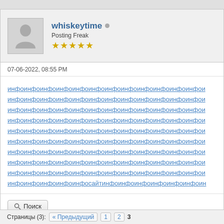whiskeytime • Posting Freak ★★★★★
07-06-2022, 08:55 PM
инфоинфоинфоинфоинфоинфоинфоинфоинфоинфоинфоинфои (x10 lines, last line contains 'сайт')
🔍 Поиск
« Предыдущая | Следующая »
Страницы (3): « Предыдущий  1  2  3